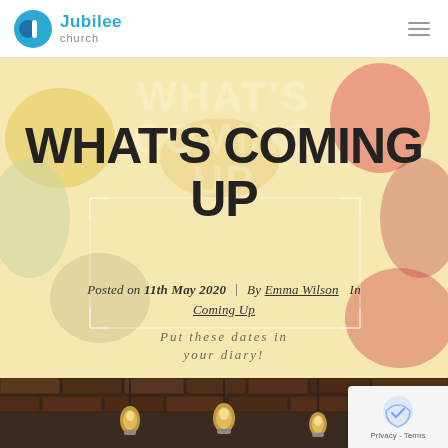[Figure (logo): Jubilee Church logo with blue circle J icon and text 'Jubilee church']
WHAT'S COMING UP
Posted on 11th May 2020  By Emma Wilson  In Coming Up
Put these dates in your diary!
[Figure (photo): Photograph of hanging Edison bulbs against a brick wall interior]